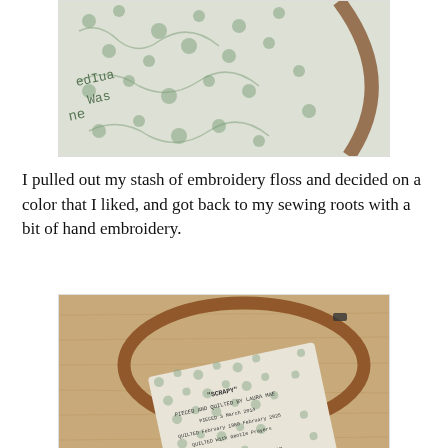[Figure (photo): Close-up photo of embroidery work in a wooden hoop showing green cross-stitch text and clover/shamrock patterns on cream fabric]
I pulled out my stash of embroidery floss and decided on a color that I liked, and got back to my sewing roots with a bit of hand embroidery.
[Figure (photo): Photo of a completed embroidery label on cream fabric with green shamrock/clover pattern, placed inside a circular wooden embroidery hoop on a wooden surface. The label reads 'SCRAPY' 'PIECED AND QUILTED BY LAURA MAE' 'PIECED 3 March 2014' 'QUILTED February 1980 February 2025' 'QUILTED With Gentle Prayers']